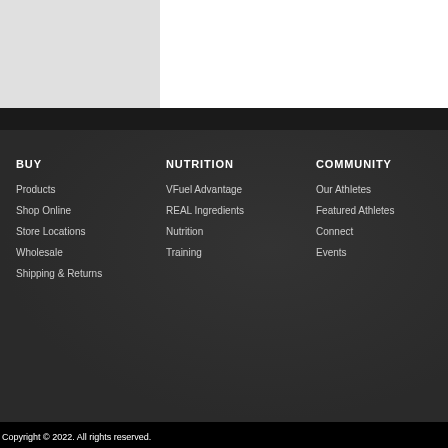BUY
Products
Shop Online
Store Locations
Wholesale
Shipping & Returns
NUTRITION
VFuel Advantage
REAL Ingredients
Nutrition
Training
COMMUNITY
Our Athletes
Featured Athletes
Connect
Events
ABO
Press
Priva
Term
FAQ
The V
Copyright © 2022. All rights reserved.